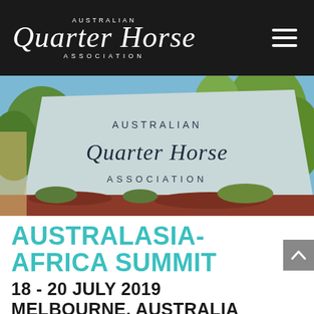Australian Quarter Horse Association
[Figure (photo): Outdoor sign reading 'Australian Quarter Horse Association' in script lettering on a pale blue/grey panel, with red mulch ground cover, green shrubs and trees in the background, blue sky visible.]
AUSTRALASIA-AFRICA SUMMIT
18 - 20 JULY 2019
MELBOURNE, AUSTRALIA